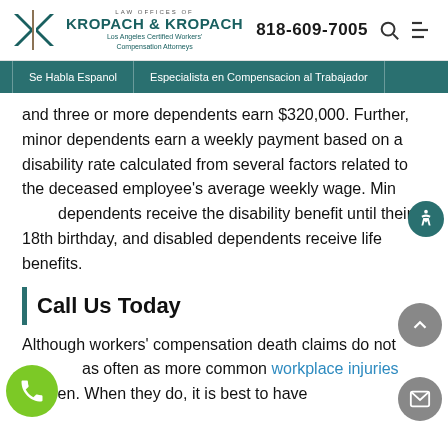Kropach & Kropach — Los Angeles Certified Workers' Compensation Attorneys | 818-609-7005
Se Habla Espanol | Especialista en Compensacion al Trabajador
and three or more dependents earn $320,000. Further, minor dependents earn a weekly payment based on a disability rate calculated from several factors related to the deceased employee's average weekly wage. Minor dependents receive the disability benefit until their 18th birthday, and disabled dependents receive life benefits.
Call Us Today
Although workers' compensation death claims do not happen as often as more common workplace injuries, they do happen. When they do, it is best to have